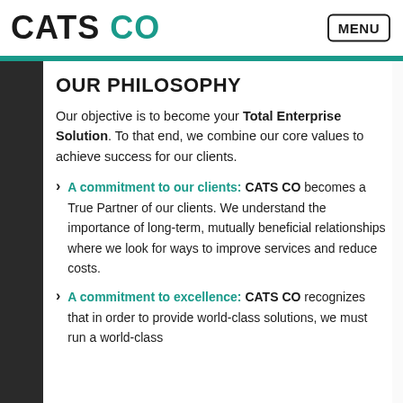CATS CO  MENU
OUR PHILOSOPHY
Our objective is to become your Total Enterprise Solution. To that end, we combine our core values to achieve success for our clients.
A commitment to our clients: CATS CO becomes a True Partner of our clients. We understand the importance of long-term, mutually beneficial relationships where we look for ways to improve services and reduce costs.
A commitment to excellence: CATS CO recognizes that in order to provide world-class solutions, we must run a world-class...